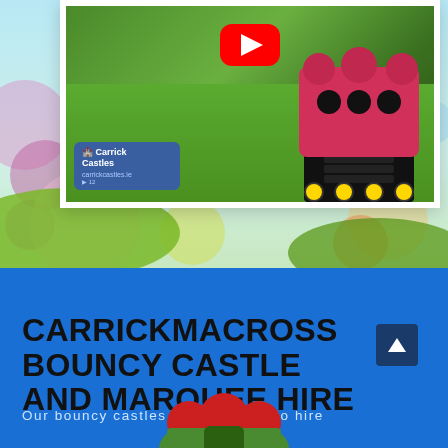[Figure (screenshot): YouTube video thumbnail showing a bouncy castle on grass with a red play button overlay and Carrick Castles logo in the corner, set against a colorful bubble background]
CARRICKMACROSS BOUNCY CASTLE AND MARQUEE HIRE
Our bouncy castles are available to hire
[Figure (illustration): Partial view of a bouncy castle illustration at the bottom of the page]